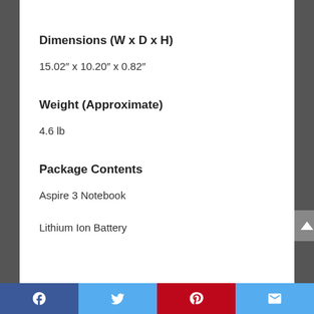Dimensions (W x D x H)
15.02″ x 10.20″ x 0.82″
Weight (Approximate)
4.6 lb
Package Contents
Aspire 3 Notebook
Lithium Ion Battery